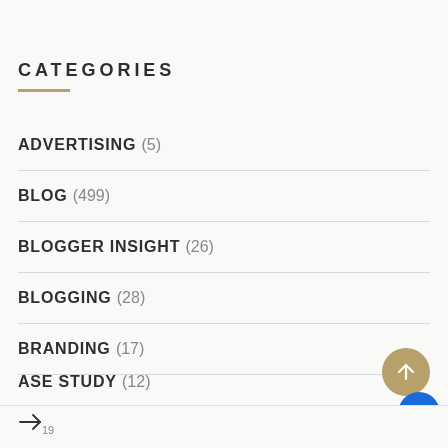CATEGORIES
ADVERTISING (5)
BLOG (499)
BLOGGER INSIGHT (26)
BLOGGING (28)
BRANDING (17)
CASE STUDY (12)